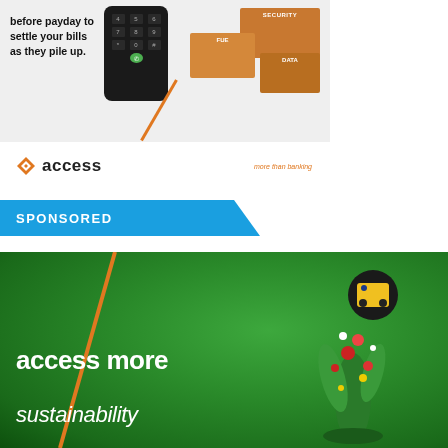[Figure (illustration): Access Bank advertisement showing text 'before payday to settle your bills as they pile up.' with a phone keypad, moving boxes labeled SECURITY, FUEL, DATA, Access Bank logo and tagline 'more than banking']
SPONSORED
[Figure (photo): Access Bank advertisement on green grass background with aerial view of lawn mower and flower arrangement forming a flame shape. Text reads 'access more sustainability' with orange diagonal slash design element.]